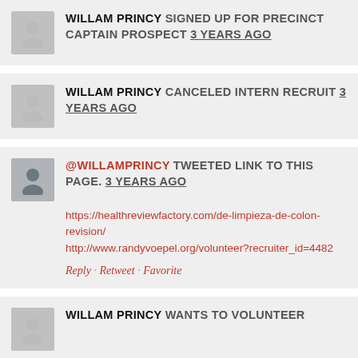WILLAM PRINCY SIGNED UP FOR PRECINCT CAPTAIN PROSPECT 3 YEARS AGO
WILLAM PRINCY CANCELED INTERN RECRUIT 3 YEARS AGO
@WILLAMPRINCY TWEETED LINK TO THIS PAGE. 3 YEARS AGO
https://healthreviewfactory.com/de-limpieza-de-colon-revision/
http://www.randyvoepel.org/volunteer?recruiter_id=4482
Reply · Retweet · Favorite
WILLAM PRINCY WANTS TO VOLUNTEER